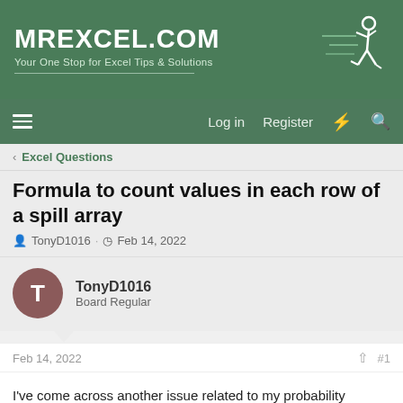MrExcel.com
Your One Stop for Excel Tips & Solutions
[Figure (logo): MrExcel.com logo with running figure icon on green banner]
Log in   Register
Excel Questions
Formula to count values in each row of a spill array
TonyD1016 · Feb 14, 2022
TonyD1016
Board Regular
Feb 14, 2022
#1
I've come across another issue related to my probability simulator.
I'm using the following: